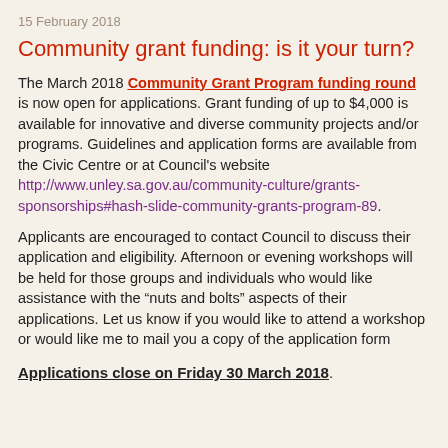15 February 2018
Community grant funding: is it your turn?
The March 2018 Community Grant Program funding round is now open for applications.  Grant funding of up to $4,000 is available for innovative and diverse community projects and/or programs. Guidelines and application forms are available from the Civic Centre or at Council's website http://www.unley.sa.gov.au/community-culture/grants-sponsorships#hash-slide-community-grants-program-89.
Applicants are encouraged to contact Council to discuss their application and eligibility.  Afternoon or evening workshops will be held for those groups and individuals who would like assistance with the “nuts and bolts” aspects of their applications.  Let us know if you would like to attend a workshop or would like me to mail you a copy of the application form
Applications close on Friday 30 March 2018.